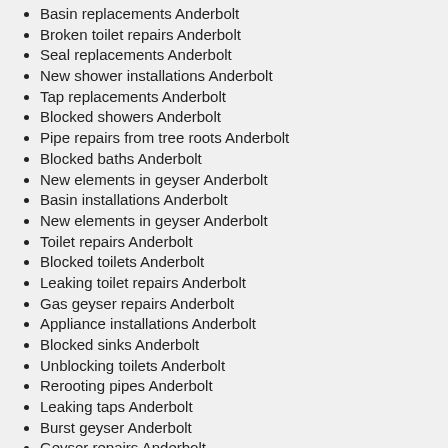Basin replacements Anderbolt
Broken toilet repairs Anderbolt
Seal replacements Anderbolt
New shower installations Anderbolt
Tap replacements Anderbolt
Blocked showers Anderbolt
Pipe repairs from tree roots Anderbolt
Blocked baths Anderbolt
New elements in geyser Anderbolt
Basin installations Anderbolt
New elements in geyser Anderbolt
Toilet repairs Anderbolt
Blocked toilets Anderbolt
Leaking toilet repairs Anderbolt
Gas geyser repairs Anderbolt
Appliance installations Anderbolt
Blocked sinks Anderbolt
Unblocking toilets Anderbolt
Rerooting pipes Anderbolt
Leaking taps Anderbolt
Burst geyser Anderbolt
Geyser repairs Anderbolt
Leaky taps Anderbolt
Blocked drains Anderbolt
Burst pipes by air bubbles Anderbolt
Bathroom renovations Anderbolt